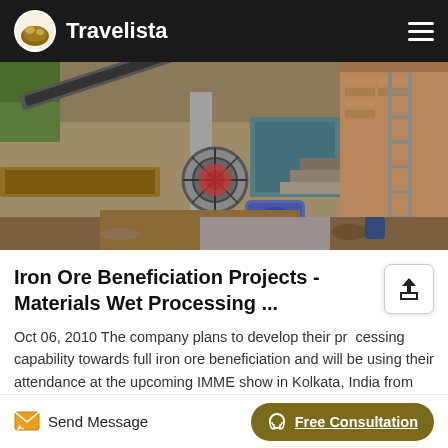Travelista
[Figure (photo): Industrial mining/ore processing site with conveyor belts, a circular saw/wheel, electric motor, scaffolding, and construction materials in an under-construction facility.]
Iron Ore Beneficiation Projects - Materials Wet Processing ...
Oct 06, 2010 The company plans to develop their processing capability towards full iron ore beneficiation and will be using their attendance at the upcoming IMME show in Kolkata, India from 10th to 13th November to launch
Send Message   Free Consultation